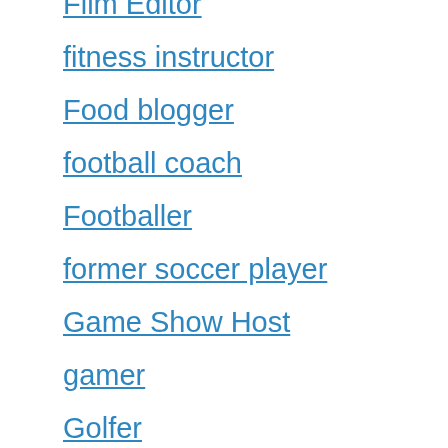Film Editor
fitness instructor
Food blogger
football coach
Footballer
former soccer player
Game Show Host
gamer
Golfer
gym trainer
hip hop artist
Horse Trainer
Ice Hockey player
Influencer